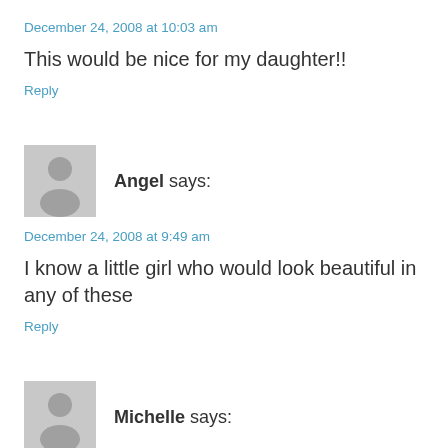December 24, 2008 at 10:03 am
This would be nice for my daughter!!
Reply
[Figure (illustration): Generic user avatar placeholder - grey silhouette of a person on light grey background]
Angel says:
December 24, 2008 at 9:49 am
I know a little girl who would look beautiful in any of these
Reply
[Figure (illustration): Generic user avatar placeholder - grey silhouette of a person on light grey background]
Michelle says: